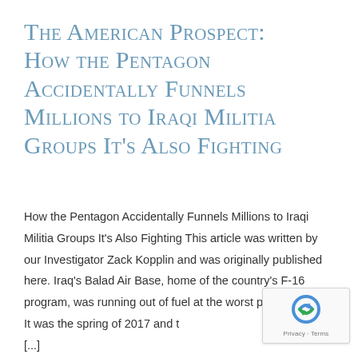The American Prospect: How the Pentagon Accidentally Funnels Millions to Iraqi Militia Groups It's Also Fighting
How the Pentagon Accidentally Funnels Millions to Iraqi Militia Groups It's Also Fighting This article was written by our Investigator Zack Kopplin and was originally published here. Iraq's Balad Air Base, home of the country's F-16 program, was running out of fuel at the worst possible time. It was the spring of 2017 and t [...]